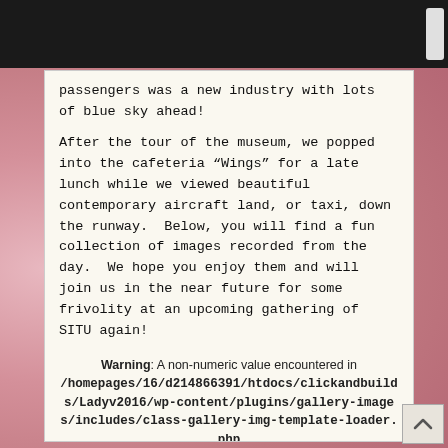passengers was a new industry with lots of blue sky ahead!
After the tour of the museum, we popped into the cafeteria “Wings” for a late lunch while we viewed beautiful contemporary aircraft land, or taxi, down the runway.  Below, you will find a fun collection of images recorded from the day.  We hope you enjoy them and will join us in the near future for some frivolity at an upcoming gathering of SITU again!
Warning: A non-numeric value encountered in /homepages/16/d214866391/htdocs/clickandbuilds/Ladyv2016/wp-content/plugins/gallery-images/includes/class-gallery-img-template-loader.php on line 43
Warning: A non-numeric value encountered in /homepages/16/d214866391/htdocs/clickandbuilds/Ladyv2016/wp-content/plugins/gallery-images/includes/class-gallery-img